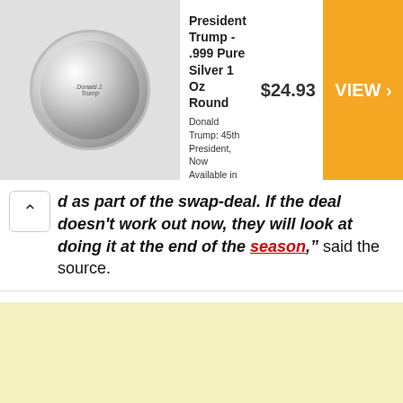[Figure (screenshot): Advertisement banner for President Trump .999 Pure Silver 1 Oz Round coin, priced at $24.93, with orange VIEW > button on the right and coin image on the left. Source: Money Metals Exchange.]
d as part of the swap-deal. If the deal doesn't work out now, they will look at doing it at the end of the season," said the source.
Letsoalo, as reported by The South African website, was spotted in Johannesburg earlier this month for talks with both Orlando Pirates and their Soweto rivals Kaizer Chiefs.
[Figure (other): Light yellow advertisement placeholder block at the bottom of the page.]